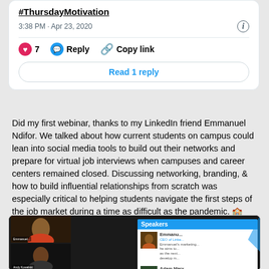#ThursdayMotivation
3:38 PM · Apr 23, 2020
7   Reply   Copy link
Read 1 reply
Did my first webinar, thanks to my LinkedIn friend Emmanuel Ndifor. We talked about how current students on campus could lean into social media tools to build out their networks and prepare for virtual job interviews when campuses and career centers remained closed. Discussing networking, branding, & how to build influential relationships from scratch was especially critical to helping students navigate the first steps of the job market during a time as difficult as the pandemic. 🏫
[Figure (screenshot): Webinar screenshot showing video participants on left and a Speakers panel on right with Emmanuel and Adam Marx profiles]